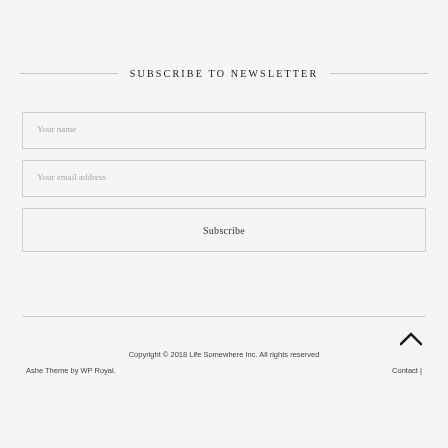SUBSCRIBE TO NEWSLETTER
Your name
Your email address
Subscribe
Copyright © 2018 Life Somewhere Inc. All rights reserved
Ashe Theme by WP Royal.
Contact |